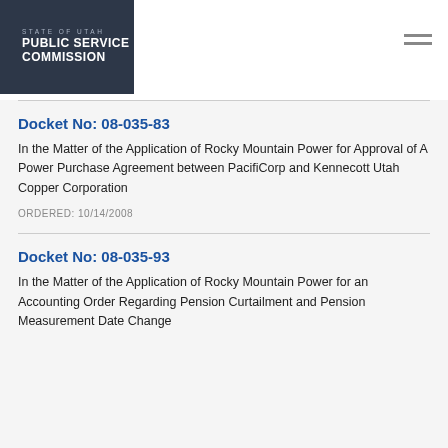[Figure (logo): State of Utah Public Service Commission logo — dark grey/slate background with white and light blue text reading STATE OF UTAH, PUBLIC SERVICE, COMMISSION]
Docket No: 08-035-83
In the Matter of the Application of Rocky Mountain Power for Approval of A Power Purchase Agreement between PacifiCorp and Kennecott Utah Copper Corporation
ORDERED: 10/14/2008
Docket No: 08-035-93
In the Matter of the Application of Rocky Mountain Power for an Accounting Order Regarding Pension Curtailment and Pension Measurement Date Change